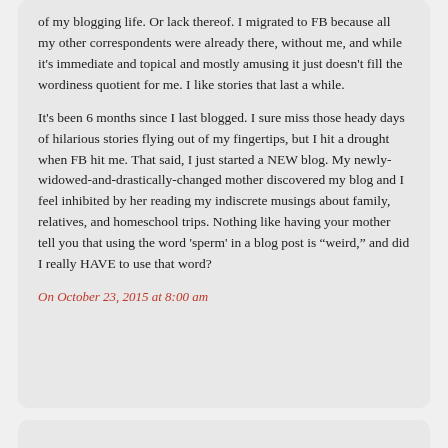of my blogging life. Or lack thereof. I migrated to FB because all my other correspondents were already there, without me, and while it's immediate and topical and mostly amusing it just doesn't fill the wordiness quotient for me. I like stories that last a while.
It's been 6 months since I last blogged. I sure miss those heady days of hilarious stories flying out of my fingertips, but I hit a drought when FB hit me. That said, I just started a NEW blog. My newly-widowed-and-drastically-changed mother discovered my blog and I feel inhibited by her reading my indiscrete musings about family, relatives, and homeschool trips. Nothing like having your mother tell you that using the word 'sperm' in a blog post is "weird," and did I really HAVE to use that word?
On October 23, 2015 at 8:00 am